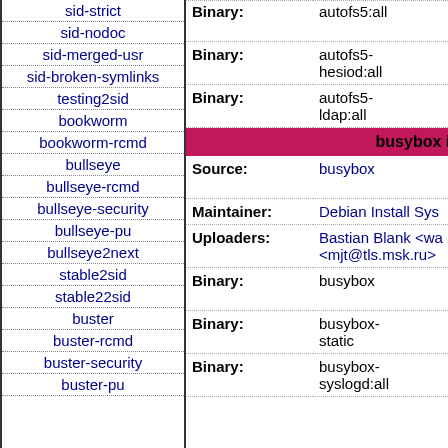sid-strict
sid-nodoc
sid-merged-usr
sid-broken-symlinks
testing2sid
bookworm
bookworm-rcmd
bullseye
bullseye-rcmd
bullseye-security
bullseye-pu
bullseye2next
stable2sid
stable22sid
buster
buster-rcmd
buster-security
buster-pu
| Type | Package | Result |
| --- | --- | --- |
| Binary: | autofs5:all | piupa... result... |
| Binary: | autofs5-hesiod:all | piupa... result... |
| Binary: | autofs5-ldap:all | piupa... result... |
| busybox in |  |  |
| Source: | busybox | piupa... summ... |
| Maintainer: | Debian Install Sys |  |
| Uploaders: | Bastian Blank <wa... <mjt@tls.msk.ru> |  |
| Binary: | busybox | piupa... result... |
| Binary: | busybox-static | piupa... result... |
| Binary: | busybox-syslogd:all | piupa... result... |